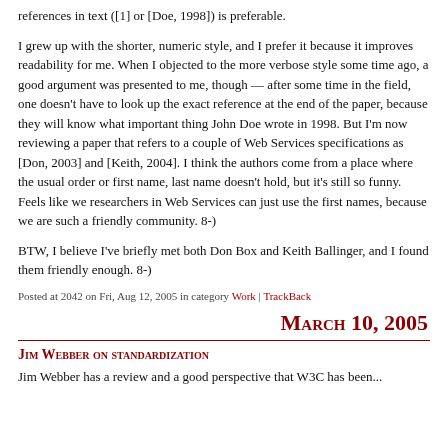references in text ([1] or [Doe, 1998]) is preferable.
I grew up with the shorter, numeric style, and I prefer it because it improves readability for me. When I objected to the more verbose style some time ago, a good argument was presented to me, though — after some time in the field, one doesn't have to look up the exact reference at the end of the paper, because they will know what important thing John Doe wrote in 1998. But I'm now reviewing a paper that refers to a couple of Web Services specifications as [Don, 2003] and [Keith, 2004]. I think the authors come from a place where the usual order or first name, last name doesn't hold, but it's still so funny. Feels like we researchers in Web Services can just use the first names, because we are such a friendly community. 8-)
BTW, I believe I've briefly met both Don Box and Keith Ballinger, and I found them friendly enough. 8-)
Posted at 2042 on Fri, Aug 12, 2005 in category Work | TrackBack
March 10, 2005
Jim Webber on standardization
Jim Webber has a review and a good perspective that W3C has...